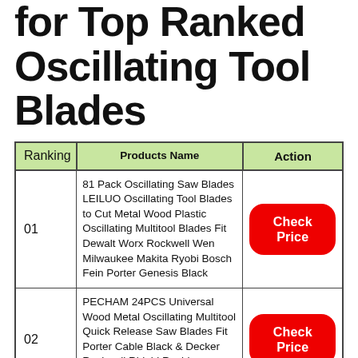for Top Ranked Oscillating Tool Blades
| Ranking | Products Name | Action |
| --- | --- | --- |
| 01 | 81 Pack Oscillating Saw Blades LEILUO Oscillating Tool Blades to Cut Metal Wood Plastic Oscillating Multitool Blades Fit Dewalt Worx Rockwell Wen Milwaukee Makita Ryobi Bosch Fein Porter Genesis Black | Check Price |
| 02 | PECHAM 24PCS Universal Wood Metal Oscillating Multitool Quick Release Saw Blades Fit Porter Cable Black & Decker Rockwell Ridgid Ryobi Milwaukee Chicago Craftsman | Check Price |
|  | 50 Pcs Oscillating Tool ... |  |